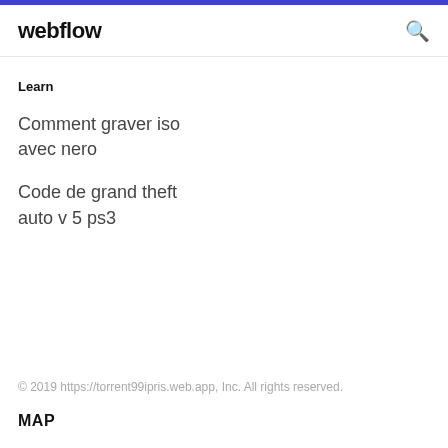webflow
Learn
Comment graver iso avec nero
Code de grand theft auto v 5 ps3
© 2019 https://torrent99ipris.web.app, Inc. All rights reserved.
MAP